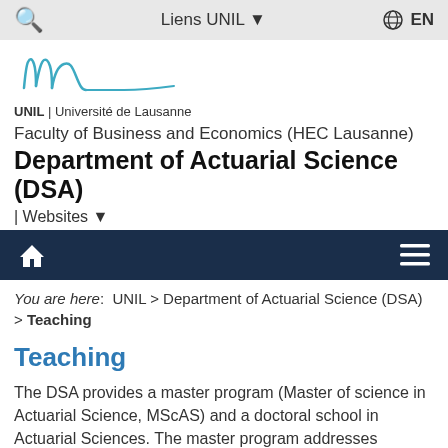🔍   Liens UNIL ▾   🌐 EN
[Figure (logo): UNIL Université de Lausanne handwritten-style logo in teal/blue]
UNIL | Université de Lausanne
Faculty of Business and Economics (HEC Lausanne)
Department of Actuarial Science (DSA)
| Websites ▾
[Figure (screenshot): Dark navy navigation bar with home icon on left and hamburger menu icon on right]
You are here:  UNIL > Department of Actuarial Science (DSA) > Teaching
Teaching
The DSA provides a master program (Master of science in Actuarial Science, MScAS) and a doctoral school in Actuarial Sciences. The master program addresses students with a bachelor in economics (management, political sciences, etc.)